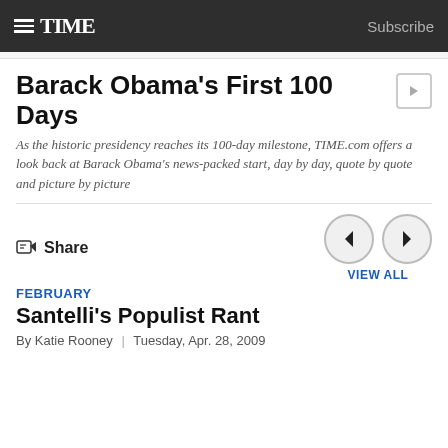TIME | Subscribe
Barack Obama's First 100 Days
As the historic presidency reaches its 100-day milestone, TIME.com offers a look back at Barack Obama's news-packed start, day by day, quote by quote and picture by picture
Share
FEBRUARY
Santelli's Populist Rant
By Katie Rooney | Tuesday, Apr. 28, 2009